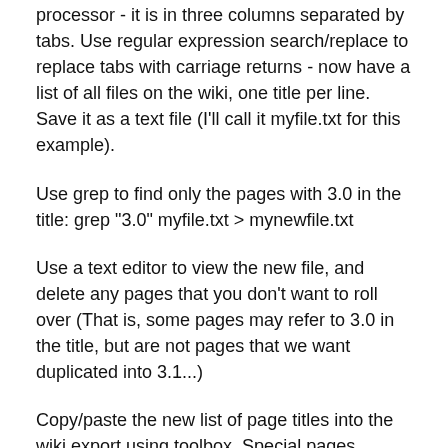processor - it is in three columns separated by tabs. Use regular expression search/replace to replace tabs with carriage returns - now have a list of all files on the wiki, one title per line. Save it as a text file (I'll call it myfile.txt for this example).
Use grep to find only the pages with 3.0 in the title: grep "3.0" myfile.txt > mynewfile.txt
Use a text editor to view the new file, and delete any pages that you don't want to roll over (That is, some pages may refer to 3.0 in the title, but are not pages that we want duplicated into 3.1...)
Copy/paste the new list of page titles into the wiki export using toolbox, Special pages, Export pages and create the xml to screen. Be sure box for Include only the current revision, not the full history is ticked.